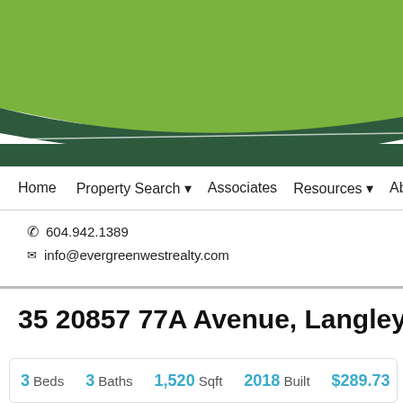[Figure (illustration): Green wave header graphic with light green and dark green curved bands on a white background]
Home  Property Search  Associates  Resources  Abe
604.942.1389
info@evergreenwestrealty.com
35 20857 77A Avenue, Langley  Listing #: R270
3 Beds  3 Baths  1,520 Sqft  2018 Built  $289.73